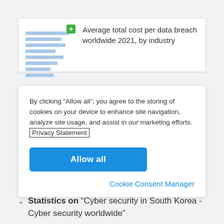Average total cost per data breach worldwide 2021, by industry
By clicking “Allow all”, you agree to the storing of cookies on your device to enhance site navigation, analyze site usage, and assist in our marketing efforts. Privacy Statement
Allow all
Cookie Consent Manager
Statistics on “Cyber security in South Korea - Cyber security worldwide”